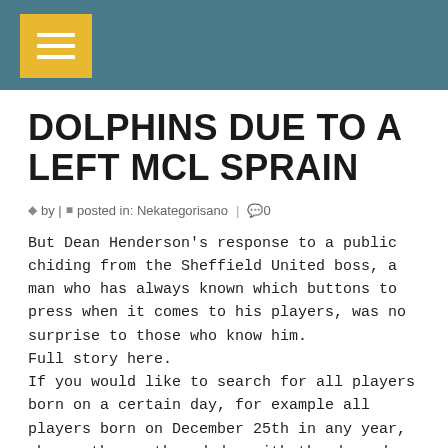DOLPHINS DUE TO A LEFT MCL SPRAIN
by | posted in: Nekategorisano | 0
But Dean Henderson's response to a public chiding from the Sheffield United boss, a man who has always known which buttons to press when it comes to his players, was no surprise to those who know him.
Full story here.
If you would like to search for all players born on a certain day, for example all players born on December 25th in any year, choose the month and day with the drop down boxes and then choose the ‘Month and Day Search’ option.
To learn more about Diamond Resorts, visit .
Hill b...